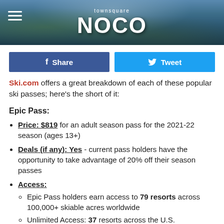townsquare NOCO
[Figure (photo): Mountain landscape banner with townsquare NOCO logo]
Share | Tweet (social buttons)
Ski.com offers a great breakdown of each of these popular ski passes; here's the short of it:
Epic Pass:
Price: $819 for an adult season pass for the 2021-22 season (ages 13+)
Deals (if any): Yes - current pass holders have the opportunity to take advantage of 20% off their season passes
Access:
Epic Pass holders earn access to 79 resorts across 100,000+ skiable acres worldwide
Unlimited Access: 37 resorts across the U.S.